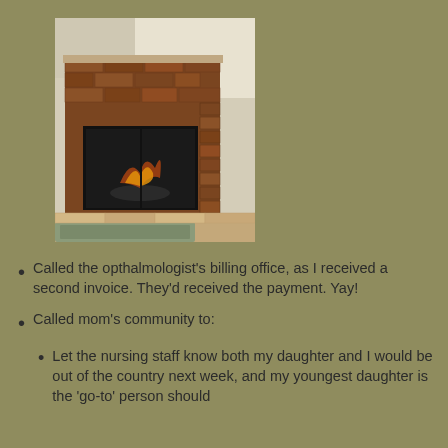[Figure (photo): A brick fireplace with a black metal insert, photographed in a living room setting with a rug visible on the floor.]
Called the opthalmologist's billing office, as I received a second invoice. They'd received the payment. Yay!
Called mom's community to:
Let the nursing staff know both my daughter and I would be out of the country next week, and my youngest daughter is the 'go-to' person should